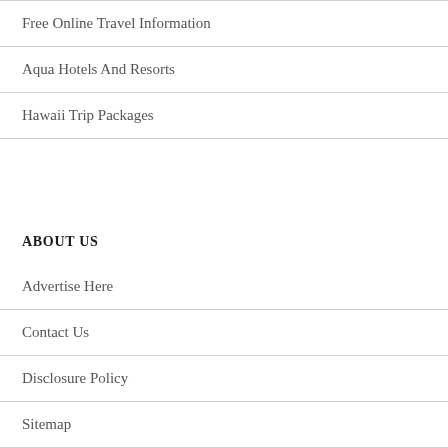Free Online Travel Information
Aqua Hotels And Resorts
Hawaii Trip Packages
ABOUT US
Advertise Here
Contact Us
Disclosure Policy
Sitemap